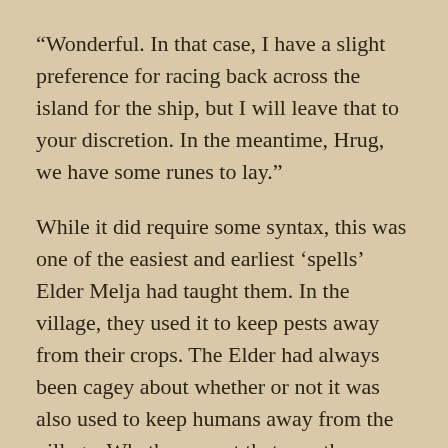“Wonderful. In that case, I have a slight preference for racing back across the island for the ship, but I will leave that to your discretion. In the meantime, Hrug, we have some runes to lay.”
While it did require some syntax, this was one of the easiest and earliest ‘spells’ Elder Melja had taught them. In the village, they used it to keep pests away from their crops. The Elder had always been cagey about whether or not it was also used to keep humans away from the village. Whether or not that was the case, it should be more than sufficient to keep the kraken’s victims from descending on their